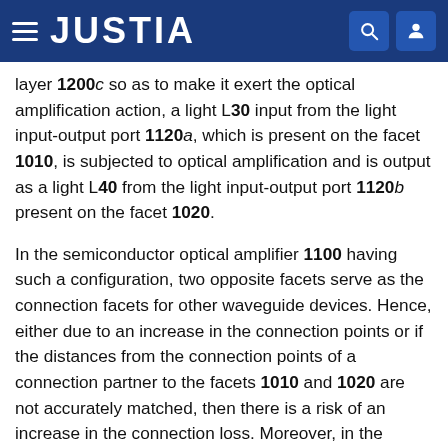JUSTIA
layer 1200c so as to make it exert the optical amplification action, a light L30 input from the light input-output port 1120a, which is present on the facet 1010, is subjected to optical amplification and is output as a light L40 from the light input-output port 1120b present on the facet 1020.
In the semiconductor optical amplifier 1100 having such a configuration, two opposite facets serve as the connection facets for other waveguide devices. Hence, either due to an increase in the connection points or if the distances from the connection points of a connection partner to the facets 1010 and 1020 are not accurately matched, then there is a risk of an increase in the connection loss. Moreover, in the semiconductor optical amplifier 1100, it becomes difficult to keep the lengths of the active layers 1100c and 1200c different from each, thereby making them unsuitable for